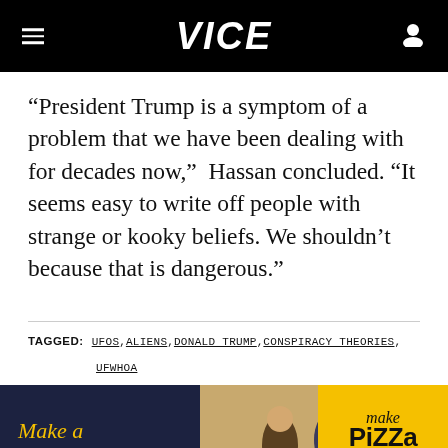VICE
“President Trump is a symptom of a problem that we have been dealing with for decades now,”  Hassan concluded. “It seems easy to write off people with strange or kooky beliefs. We shouldn’t because that is dangerous.”
TAGGED:  UFOS , ALIENS , DONALD TRUMP , CONSPIRACY THEORIES , UFWHOA
[Figure (photo): Advertisement banner for Ooni pizza maker featuring text ‘Make a Friend or Two’ on dark background with photo of people and dogs at a picnic with pizza, and ‘Make Pizza ooni Shop Now’ on yellow background]